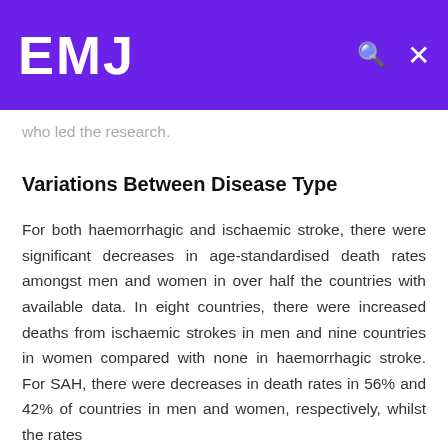EMJ
who led the research.
Variations Between Disease Type
For both haemorrhagic and ischaemic stroke, there were significant decreases in age-standardised death rates amongst men and women in over half the countries with available data. In eight countries, there were increased deaths from ischaemic strokes in men and nine countries in women compared with none in haemorrhagic stroke. For SAH, there were decreases in death rates in 56% and 42% of countries in men and women, respectively, whilst the rates